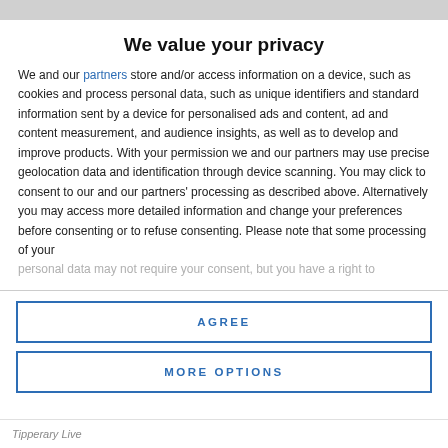We value your privacy
We and our partners store and/or access information on a device, such as cookies and process personal data, such as unique identifiers and standard information sent by a device for personalised ads and content, ad and content measurement, and audience insights, as well as to develop and improve products. With your permission we and our partners may use precise geolocation data and identification through device scanning. You may click to consent to our and our partners' processing as described above. Alternatively you may access more detailed information and change your preferences before consenting or to refuse consenting. Please note that some processing of your personal data may not require your consent, but you have a right to
AGREE
MORE OPTIONS
Tipperary Live